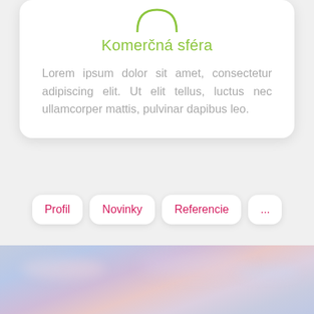[Figure (illustration): Green circular icon with a smiley/face outline at the top of the card]
Komerčná sféra
Lorem ipsum dolor sit amet, consectetur adipiscing elit. Ut elit tellus, luctus nec ullamcorper mattis, pulvinar dapibus leo.
Profil
Novinky
Referencie
...
[Figure (photo): Sky photo with blue and pink/purple clouds at dusk or dawn]